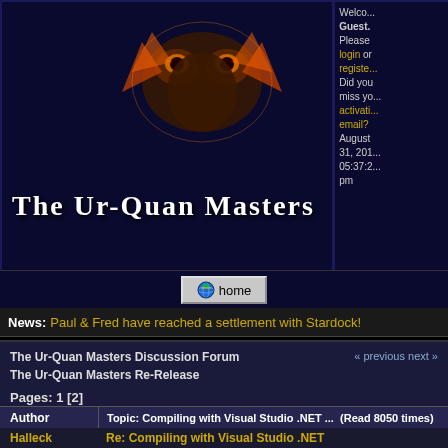[Figure (screenshot): The Ur-Quan Masters website header with alien graphic and title text on dark blue background]
Welcome, Guest. Please login or register. Did you miss your activation email? August 31, 2013 05:37:24 pm
[Figure (illustration): Home button with globe icon]
News: Paul & Fred have reached a settlement with Stardock!
The Ur-Quan Masters Discussion Forum
The Ur-Quan Masters Re-Release
Technical Issues (Moderator: Death 999)
Compiling with Visual Studio .NET ...
« previous next
Pages: 1 [2]
| Author | Topic: Compiling with Visual Studio .NET ... (Read 8050 times) |
| --- | --- |
| Halleck | Re: Compiling with Visual Studio .NET |
Halleck
Re: Compiling with Visual Studio .NET